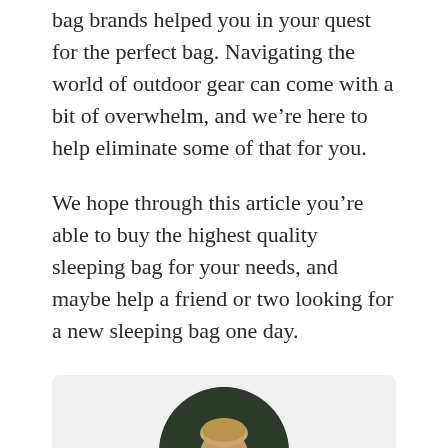bag brands helped you in your quest for the perfect bag. Navigating the world of outdoor gear can come with a bit of overwhelm, and we're here to help eliminate some of that for you.
We hope through this article you're able to buy the highest quality sleeping bag for your needs, and maybe help a friend or two looking for a new sleeping bag one day.
[Figure (photo): Circular portrait photo of a smiling man with short blond hair wearing a green top, displayed on a light gray background card.]